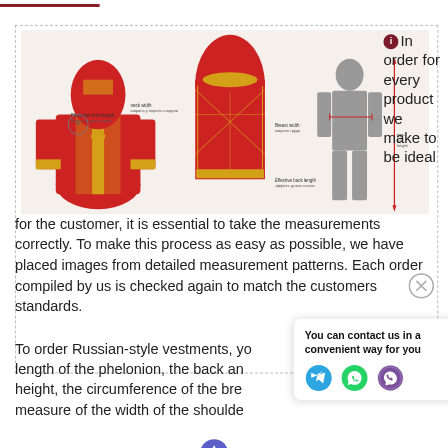[Figure (photo): Measurement guide showing Russian Orthodox vestments (phelonion in red and gold) from front and back views, plus a body diagram with measurement indicators for neck width, shoulder width, front length, back length, chest circumference, and person height.]
In order for every product we make to be ideal for the customer, it is essential to take the measurements correctly. To make this process as easy as possible, we have placed images from detailed measurement patterns. Each order compiled by us is checked again to match the customers standards.
To order Russian-style vestments, you will need: length of the phelonion, the back and front height, the circumference of the breast, the measure of the width of the shoulders
The customer can measure themselves: epigonation, cuffs and width of orarion
[Figure (infographic): Contact popup: 'You can contact us in a convenient way for you' with Telegram, WhatsApp, and Viber icons]